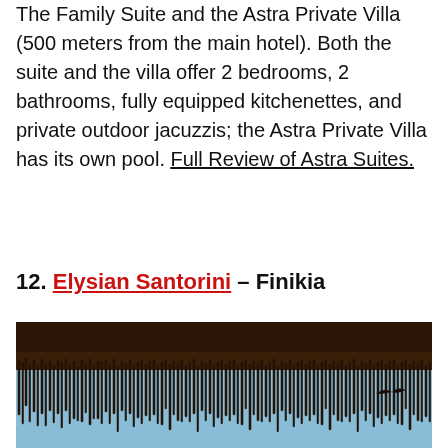The Family Suite and the Astra Private Villa (500 meters from the main hotel). Both the suite and the villa offer 2 bedrooms, 2 bathrooms, fully equipped kitchenettes, and private outdoor jacuzzis; the Astra Private Villa has its own pool. Full Review of Astra Suites.
12. Elysian Santorini – Finikia
[Figure (photo): Photo of thatched roof overhang with dry straw/reeds hanging down, blue sky background]